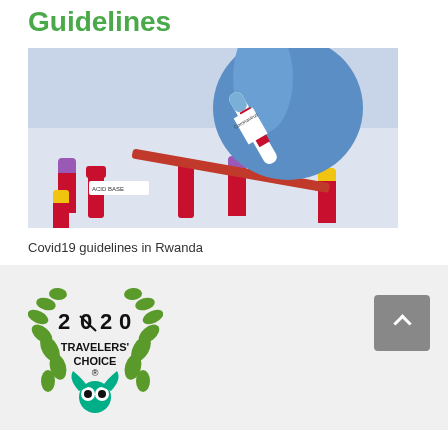Guidelines
[Figure (photo): A gloved hand (blue latex glove) holding a blood test tube labeled 'Coronavirus', with multiple other blood sample tubes (purple, red, yellow caps) scattered on a white surface below.]
Covid19 guidelines in Rwanda
[Figure (logo): TripAdvisor 2020 Travelers' Choice award badge with green laurel wreath and owl logo]